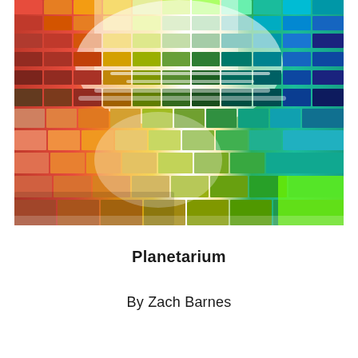[Figure (photo): A photograph of colorful paint swatches/color chips arranged in a fan or book format, showing a full spectrum of colors from red/orange on the left to green and teal on the right, with yellow and warm tones in the middle. The swatches are stacked and fanned out, creating a rainbow gradient effect.]
Planetarium
By Zach Barnes